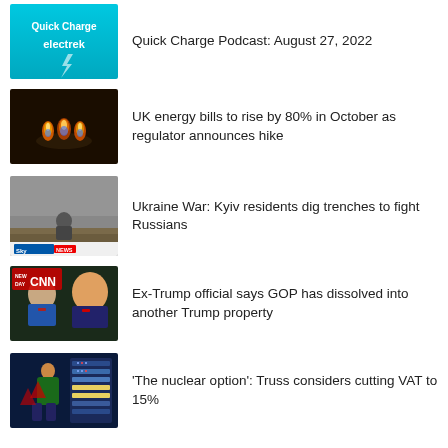Quick Charge Podcast: August 27, 2022
UK energy bills to rise by 80% in October as regulator announces hike
Ukraine War: Kyiv residents dig trenches to fight Russians
Ex-Trump official says GOP has dissolved into another Trump property
'The nuclear option': Truss considers cutting VAT to 15%